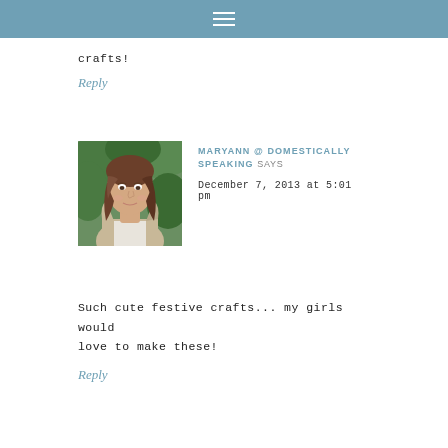≡
crafts!
Reply
[Figure (photo): Avatar photo of a woman with brown hair wearing a light cardigan, outdoors with green foliage background]
MARYANN @ DOMESTICALLY SPEAKING SAYS
December 7, 2013 at 5:01 pm
Such cute festive crafts... my girls would love to make these!
Reply